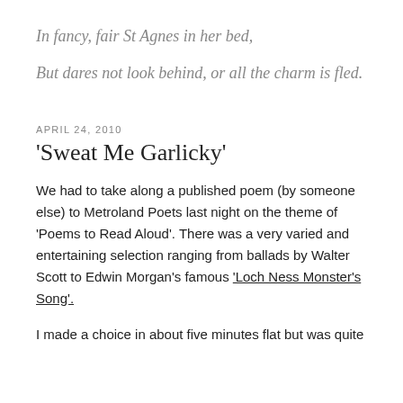In fancy, fair St Agnes in her bed,
But dares not look behind, or all the charm is fled.
APRIL 24, 2010
‘Sweat Me Garlicky’
We had to take along a published poem (by someone else) to Metroland Poets last night on the theme of ‘Poems to Read Aloud’. There was a very varied and entertaining selection ranging from ballads by Walter Scott to Edwin Morgan’s famous ‘Loch Ness Monster’s Song’.
I made a choice in about five minutes flat but was quite